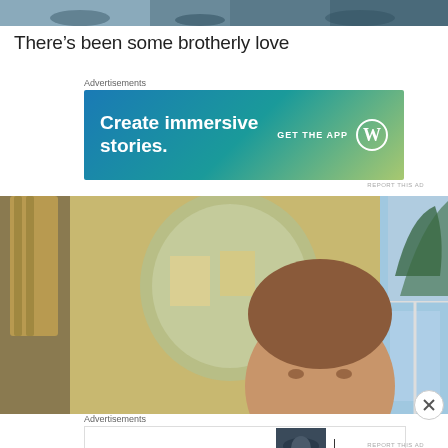[Figure (photo): Top cropped photo strip showing people's feet/shoes]
There’s been some brotherly love
Advertisements
[Figure (other): Advertisement banner: Create immersive stories. GET THE APP with WordPress logo]
[Figure (photo): Indoor photo of a young man in a room with a decorative mirror and a window showing trees outside]
Advertisements
[Figure (other): Bloomingdale’s advertisement: View Today’s Top Deals! SHOP NOW >]